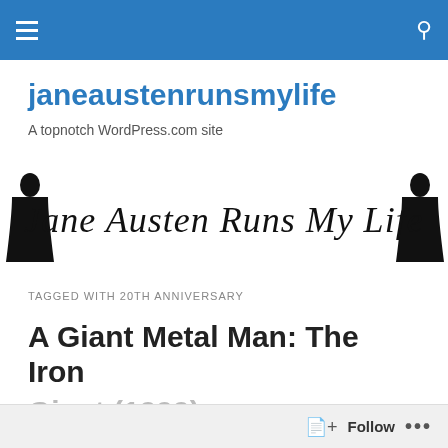janeaustenrunsmylife – navigation bar
janeaustenrunsmylife
A topnotch WordPress.com site
[Figure (illustration): Cursive script logo reading 'Jane Austen Runs My Life' with silhouette figures of a woman on each side]
TAGGED WITH 20TH ANNIVERSARY
A Giant Metal Man: The Iron Giant (1999)
Follow